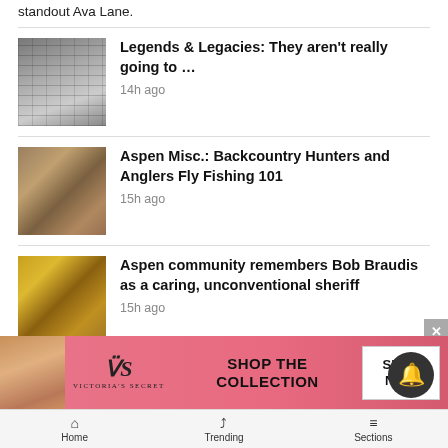standout Ava Lane.
Legends & Legacies: They aren't really going to … 14h ago
Aspen Misc.: Backcountry Hunters and Anglers Fly Fishing 101 15h ago
Aspen community remembers Bob Braudis as a caring, unconventional sheriff 15h ago
[Figure (photo): Victoria's Secret advertisement banner with model and 'Shop The Collection / Shop Now' button]
Home  Trending  Sections